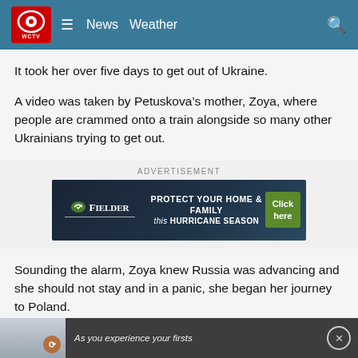WCTV News Weather
It took her over five days to get out of Ukraine.
A video was taken by Petuskova’s mother, Zoya, where people are crammed onto a train alongside so many other Ukrainians trying to get out.
[Figure (screenshot): Advertisement banner for Fielder: PROTECT YOUR HOME & FAMILY this HURRICANE SEASON with a Click here button]
Sounding the alarm, Zoya knew Russia was advancing and she should not stay and in a panic, she began her journey to Poland.
“She w… and
[Figure (screenshot): Bottom video overlay ad: As you experience your firsts, showing a person writing]